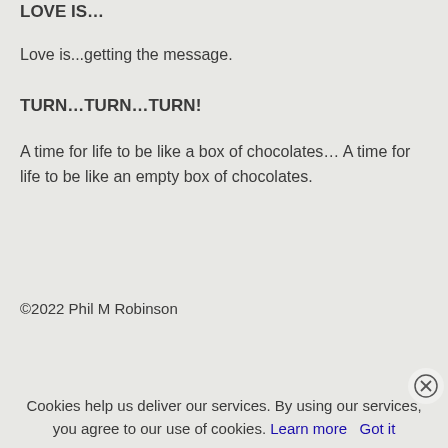LOVE IS…
Love is...getting the message.
TURN…TURN…TURN!
A time for life to be like a box of chocolates… A time for life to be like an empty box of chocolates.
©2022 Phil M Robinson
Cookies help us deliver our services. By using our services, you agree to our use of cookies. Learn more Got it